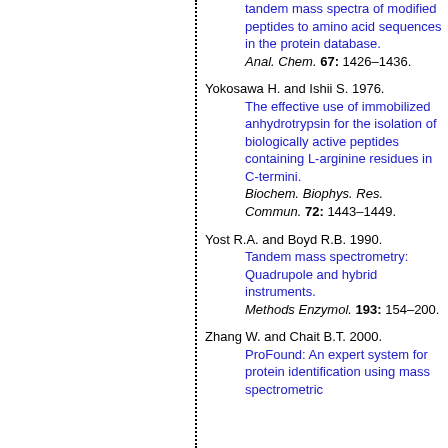tandem mass spectra of modified peptides to amino acid sequences in the protein database. Anal. Chem. 67: 1426–1436.
Yokosawa H. and Ishii S. 1976. The effective use of immobilized anhydrotrypsin for the isolation of biologically active peptides containing L-arginine residues in C-termini. Biochem. Biophys. Res. Commun. 72: 1443–1449.
Yost R.A. and Boyd R.B. 1990. Tandem mass spectrometry: Quadrupole and hybrid instruments. Methods Enzymol. 193: 154–200.
Zhang W. and Chait B.T. 2000. ProFound: An expert system for protein identification using mass spectrometric